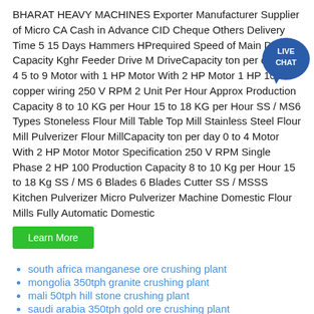BHARAT HEAVY MACHINES Exporter Manufacturer Supplier of Micro CA Cash in Advance CID Cheque Others Delivery Time 5 15 Days Hammers HPrequired Speed of Main Drive Capacity Kghr Feeder Drive M DriveCapacity ton per day 0 to 4 5 to 9 Motor with 1 HP Motor With 2 HP Motor 1 HP 100 copper wiring 250 V RPM 2 Unit Per Hour Approx Production Capacity 8 to 10 KG per Hour 15 to 18 KG per Hour SS / MS6 Types Stoneless Flour Mill Table Top Mill Stainless Steel Flour Mill Pulverizer Flour MillCapacity ton per day 0 to 4 Motor With 2 HP Motor Motor Specification 250 V RPM Single Phase 2 HP 100 Production Capacity 8 to 10 Kg per Hour 15 to 18 Kg SS / MS 6 Blades 6 Blades Cutter SS / MSSS Kitchen Pulverizer Micro Pulverizer Machine Domestic Flour Mills Fully Automatic Domestic
[Figure (other): Live Chat badge - circular blue badge with LIVE CHAT text]
Learn More button
south africa manganese ore crushing plant
mongolia 350tph granite crushing plant
mali 50tph hill stone crushing plant
saudi arabia 350tph gold ore crushing plant